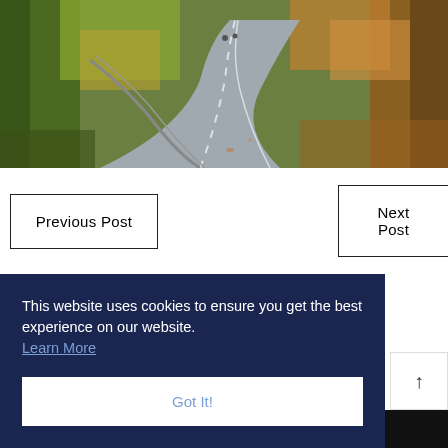[Figure (photo): A winding asphalt road through an autumn forest with orange and green foliage and a metal guardrail.]
Previous Post
Next Post
This website uses cookies to ensure you get the best experience on our website. Learn More
Got It!